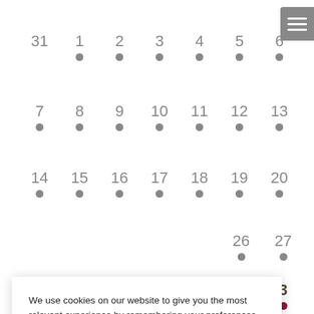[Figure (other): Website calendar grid showing dates 31, 1-6, 7-13, 14-20, 26-27, 2-3 with grey and red dot indicators below each date]
We use cookies on our website to give you the most relevant experience by remembering your preferences and repeat visits. By clicking “Accept All”, you consent to the use of ALL the cookies. However, you may visit “Cookie Settings” to provide a controlled consent.
Cookie Settings
Accept All